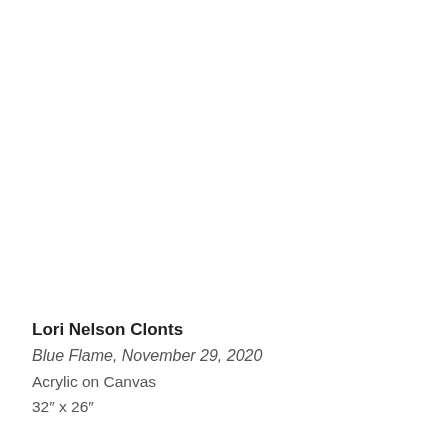Lori Nelson Clonts
Blue Flame, November 29, 2020
Acrylic on Canvas
32″ x 26″